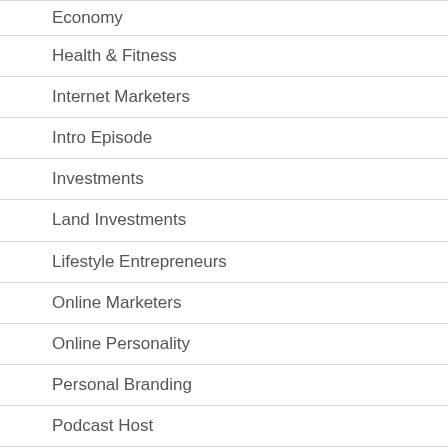Economy
Health & Fitness
Internet Marketers
Intro Episode
Investments
Land Investments
Lifestyle Entrepreneurs
Online Marketers
Online Personality
Personal Branding
Podcast Host